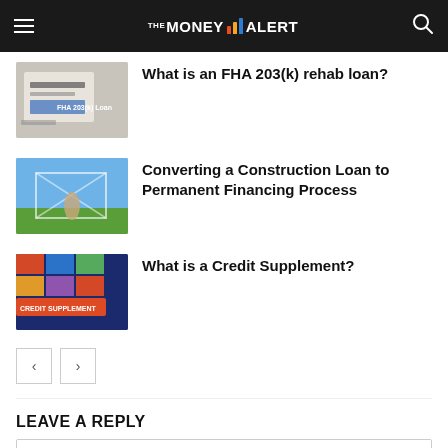THE MONEY ALERT
What is an FHA 203(k) rehab loan?
Converting a Construction Loan to Permanent Financing Process
What is a Credit Supplement?
LEAVE A REPLY